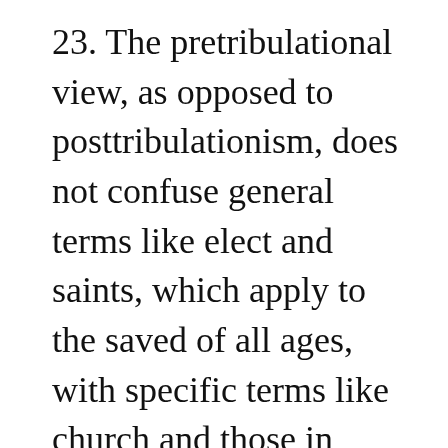23. The pretribulational view, as opposed to posttribulationism, does not confuse general terms like elect and saints, which apply to the saved of all ages, with specific terms like church and those in Christ, which refer to believers of this age only.